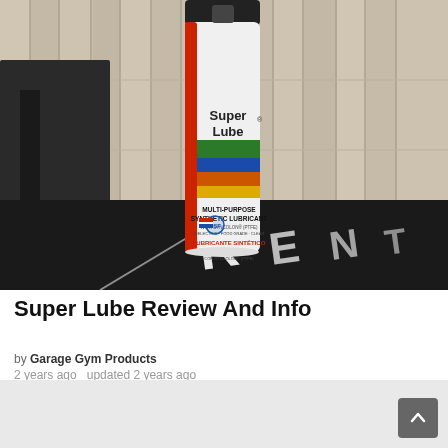[Figure (photo): A can of Super Lube Multi-Purpose Synthetic Lubricant spray with PTFE (Syncolon), food grade rated, shown sitting on a black rubber mat surface in front of a wooden plank wall, with gym equipment visible in the background. The can features a colorful striped label with green, blue, orange, and yellow bands.]
Super Lube Review And Info
by Garage Gym Products
2 years ago   updated 2 years ago